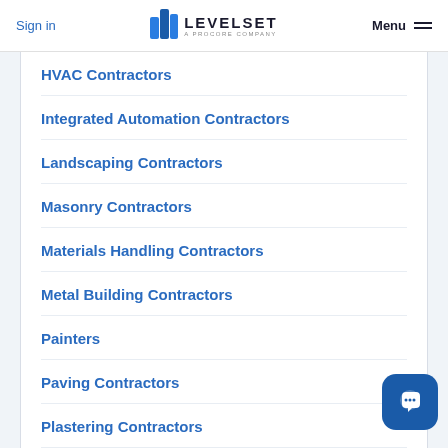Sign in | LEVELSET A PROCORE COMPANY | Menu
HVAC Contractors
Integrated Automation Contractors
Landscaping Contractors
Masonry Contractors
Materials Handling Contractors
Metal Building Contractors
Painters
Paving Contractors
Plastering Contractors
Plastic Contractors
Plumbers